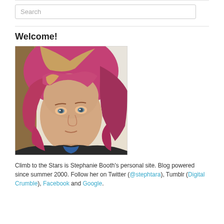Search
Welcome!
[Figure (photo): Person with pink and blonde hair wearing a dark hoodie, looking at camera, selfie-style photo.]
Climb to the Stars is Stephanie Booth's personal site. Blog powered since summer 2000. Follow her on Twitter (@stephtara), Tumblr (Digital Crumble), Facebook and Google.